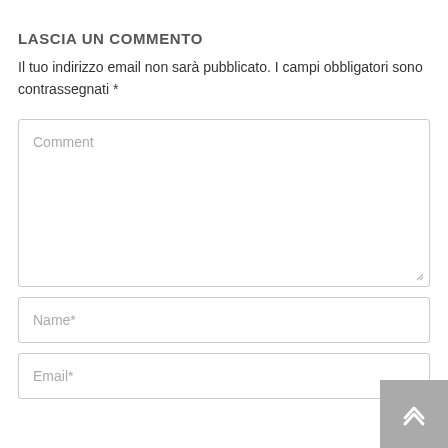LASCIA UN COMMENTO
Il tuo indirizzo email non sarà pubblicato. I campi obbligatori sono contrassegnati *
[Figure (screenshot): Comment textarea input field with placeholder text 'Comment' and a resize handle in the bottom right corner]
[Figure (screenshot): Name input field with placeholder text 'Name*']
[Figure (screenshot): Email input field with placeholder text 'Email*']